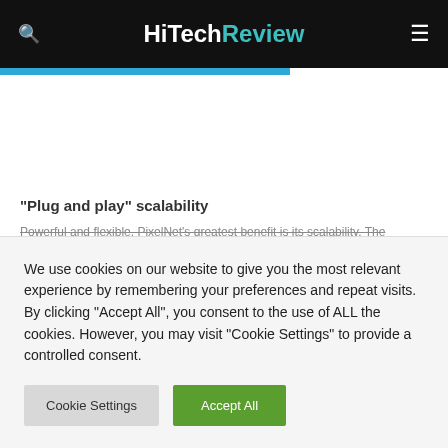HiTechReview
“Plug and play” scalability
Powerful and flexible, PixelNet’s greatest benefit is its scalability. The
We use cookies on our website to give you the most relevant experience by remembering your preferences and repeat visits. By clicking “Accept All”, you consent to the use of ALL the cookies. However, you may visit "Cookie Settings" to provide a controlled consent.
Cookie Settings | Accept All